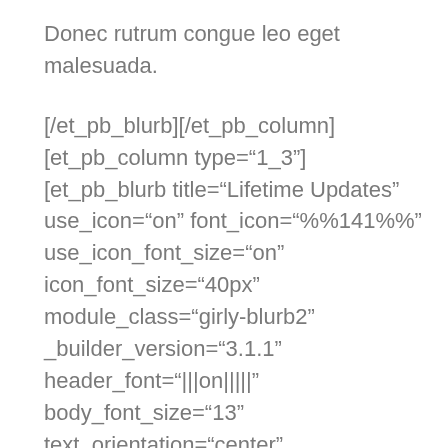Donec rutrum congue leo eget malesuada.
[/et_pb_blurb][/et_pb_column][et_pb_column type="1_3"][et_pb_blurb title="Lifetime Updates" use_icon="on" font_icon="%%141%%" use_icon_font_size="on" icon_font_size="40px" module_class="girly-blurb2" _builder_version="3.1.1" header_font="|||on|||||" body_font_size="13" text_orientation="center" max_width_tablet="60%" max_width_phone="99%" max_width_last_edited="on|phone" module_alignment="center" custom_padding="50px|20px|50px|20px"